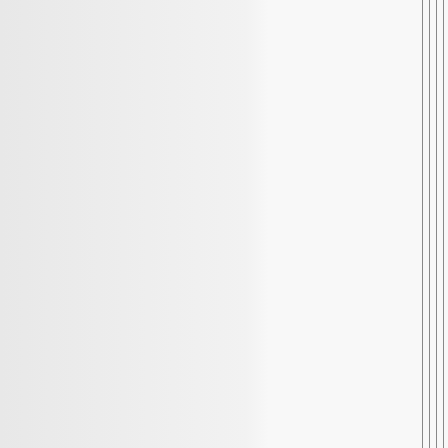Yukoners believe that catastrophic events will befall us and the rest of the globe. While we dearly need advice on timelines, mitigation and training with respect to new construction